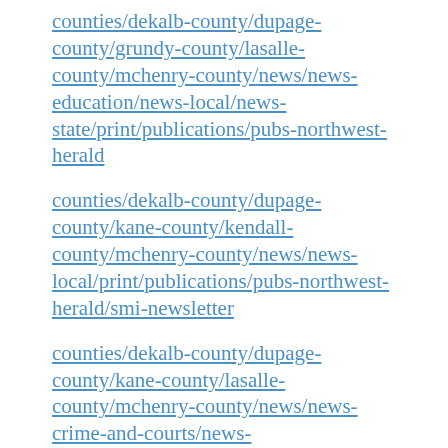counties/dekalb-county/dupage-county/grundy-county/lasalle-county/mchenry-county/news/news-education/news-local/news-state/print/publications/pubs-northwest-herald
counties/dekalb-county/dupage-county/kane-county/kendall-county/mchenry-county/news/news-local/print/publications/pubs-northwest-herald/smi-newsletter
counties/dekalb-county/dupage-county/kane-county/lasalle-county/mchenry-county/news/news-crime-and-courts/news-local/print/publications/pubs-the-times/whiteside-county/will-county
counties/dekalb-county/education/features/news/news-local/premium/print/publications/pubs-daily-chronicle
counties/dekalb-county/education/features/news/news-local/print/publications/pubs-daily-chronicle